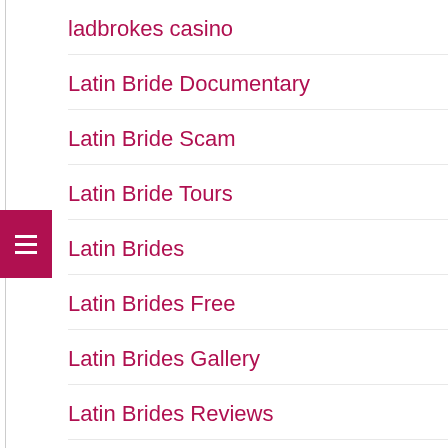ladbrokes casino
Latin Bride Documentary
Latin Bride Scam
Latin Bride Tours
Latin Brides
Latin Brides Free
Latin Brides Gallery
Latin Brides Reviews
Latin Brides Ru
Latin Brides Scam
Latin Brides.Com
Latin Dating
Latin Dating Men